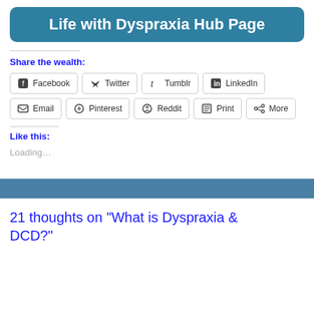Life with Dyspraxia Hub Page
Share the wealth:
Facebook | Twitter | Tumblr | LinkedIn | Email | Pinterest | Reddit | Print | More
Like this:
Loading…
21 thoughts on “What is Dyspraxia & DCD?”